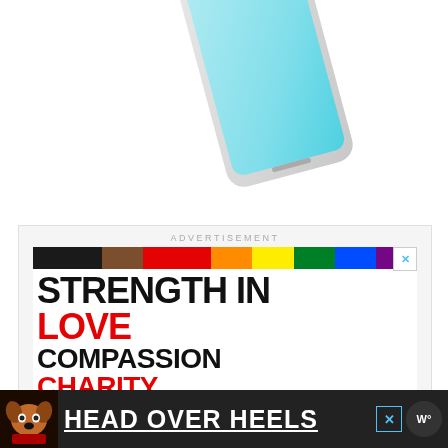[Figure (photo): Partial view of a smartphone (bottom half visible) tilted at an angle against white background, showing screen with teal/green gradient.]
ADVERTISEMENT
[Figure (infographic): Pride/diversity rainbow progress flag horizontal bar with colors: black, brown, red, orange, yellow, green, blue, violet. Close X button at top right.]
STRENGTH IN LOVE COMPASSION CHARITY BELONGING INSPIRE CHANGE
[Figure (infographic): Bottom banner ad: dark background with cartoon dog image and text HEAD OVER HEELS underlined. Close X button and round logo at right.]